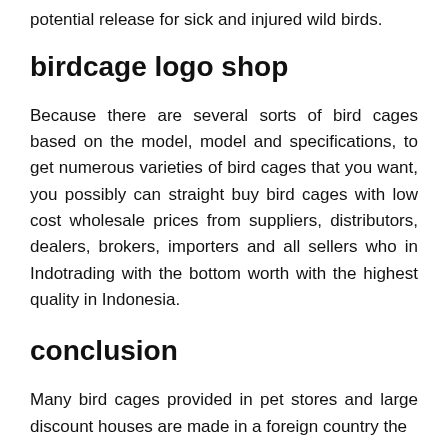potential release for sick and injured wild birds.
birdcage logo shop
Because there are several sorts of bird cages based on the model, model and specifications, to get numerous varieties of bird cages that you want, you possibly can straight buy bird cages with low cost wholesale prices from suppliers, distributors, dealers, brokers, importers and all sellers who in Indotrading with the bottom worth with the highest quality in Indonesia.
conclusion
Many bird cages provided in pet stores and large discount houses are made in a foreign country the